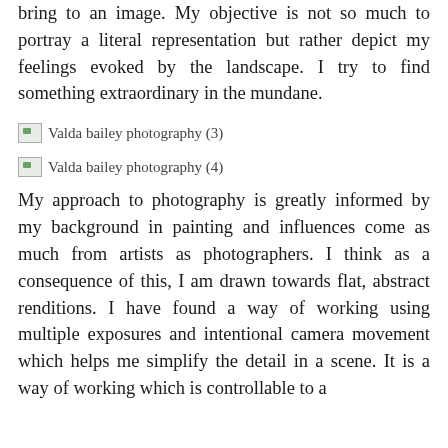bring to an image. My objective is not so much to portray a literal representation but rather depict my feelings evoked by the landscape. I try to find something extraordinary in the mundane.
[Figure (photo): Valda bailey photography (3) — broken/missing image placeholder]
[Figure (photo): Valda bailey photography (4) — broken/missing image placeholder]
My approach to photography is greatly informed by my background in painting and influences come as much from artists as photographers. I think as a consequence of this, I am drawn towards flat, abstract renditions. I have found a way of working using multiple exposures and intentional camera movement which helps me simplify the detail in a scene. It is a way of working which is controllable to a